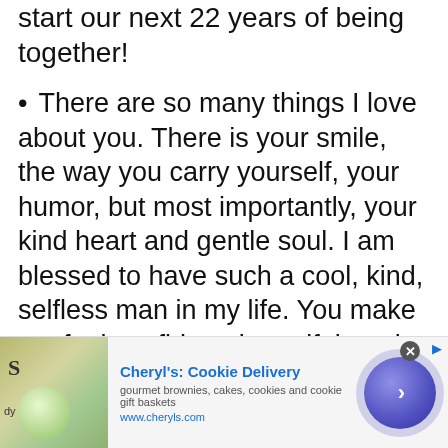start our next 22 years of being together!
There are so many things I love about you. There is your smile, the way you carry yourself, your humor, but most importantly, your kind heart and gentle soul. I am blessed to have such a cool, kind, selfless man in my life. You make me feel confident, beautiful, and loved. I am truly the luckiest girl alive because I have you!
[Figure (other): Advertisement banner for Cheryl's Cookie Delivery showing food images, text 'gourmet brownies, cakes, cookies and cookie gift baskets' and 'www.cheryls.com', with a blue circular arrow button]